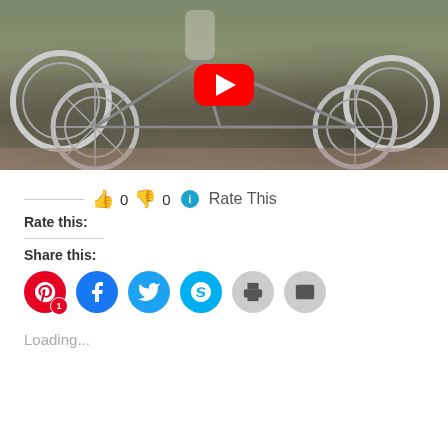[Figure (screenshot): YouTube video thumbnail showing a bicycle scene with a red YouTube play button in the center]
👍 0 👎 0 ℹ Rate This
Rate this:
Share this:
[Figure (other): Social share buttons: Pinterest (with badge 1), Facebook, Twitter, Skype, Print, Email]
Loading...